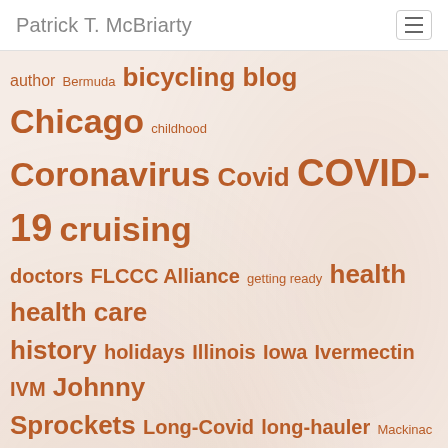Patrick T. McBriarty
[Figure (infographic): Tag cloud with terms related to the Patrick T. McBriarty blog, including topics like bicycling, Chicago, COVID-19, pandemic, McBriarty, sailing, Trunnion, etc. in varying font sizes indicating frequency.]
Tweets from @PTMcBriarty